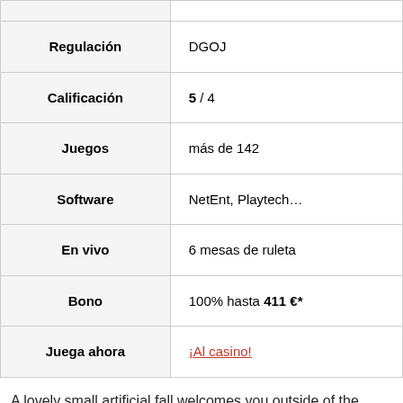| Label | Value |
| --- | --- |
| Regulación | DGOJ |
| Calificación | 5 / 4 |
| Juegos | más de 142 |
| Software | NetEnt, Playtech… |
| En vivo | 6 mesas de ruleta |
| Bono | 100% hasta 411 €* |
| Juega ahora | ¡Al casino! |
A lovely small artificial fall welcomes you outside of the resort and you will like even more the environment